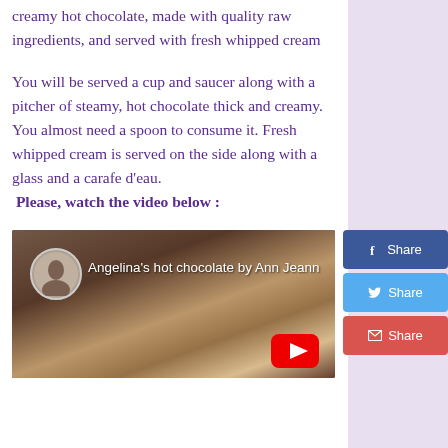creamy hot chocolate, made with quality raw ingredients, and served with fresh whipped cream
You will be served a cup and saucer along with a pitcher of steamy, hot chocolate thick and creamy. You almost need a spoon to consume it. Fresh whipped cream is served on the side along with a glass and a carafe d'eau. Please, watch the video below :
[Figure (screenshot): YouTube video thumbnail showing 'Angelina's hot chocolate by Ann Jeann' with a close-up of hot chocolate with whipped cream swirls and a YouTube play button]
[Figure (infographic): Social share buttons: Facebook Share (blue), Twitter Share (light blue), Email Share (red-orange)]